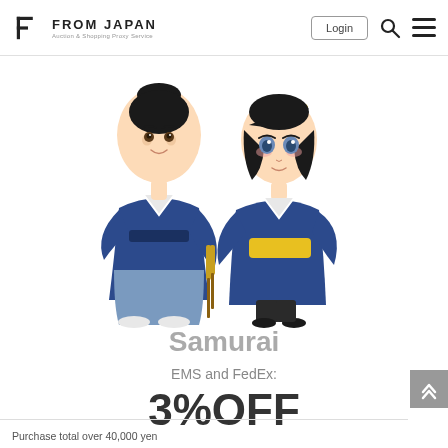FROM JAPAN — Auction & Shopping Proxy Service
[Figure (illustration): Two chibi-style anime characters dressed in blue Japanese samurai/kimono outfits. The male character on the left has a traditional topknot hairstyle and holds a katana. The female character on the right has dark hair in a ponytail with a yellow hair tie, and also holds a katana with a yellow obi belt.]
Samurai
EMS and FedEx:
3%OFF
Purchase total over 40,000 yen